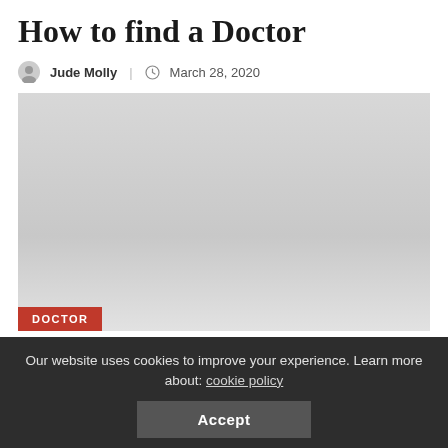How to find a Doctor
Jude Molly | March 28, 2020
[Figure (photo): Large placeholder image with light grey gradient background and a red 'DOCTOR' badge in the bottom-left corner]
Our website uses cookies to improve your experience. Learn more about: cookie policy
Accept